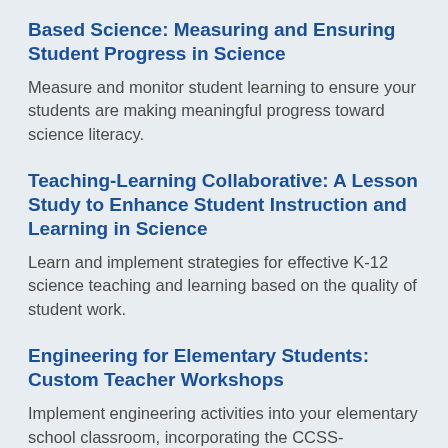Based Science: Measuring and Ensuring Student Progress in Science
Measure and monitor student learning to ensure your students are making meaningful progress toward science literacy.
Teaching-Learning Collaborative: A Lesson Study to Enhance Student Instruction and Learning in Science
Learn and implement strategies for effective K-12 science teaching and learning based on the quality of student work.
Engineering for Elementary Students: Custom Teacher Workshops
Implement engineering activities into your elementary school classroom, incorporating the CCSS- Language Arts Standards. Choose from several custom workshops to meet your needs.